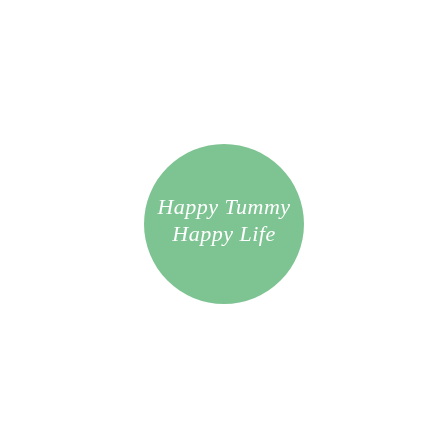[Figure (logo): A circular green logo with white script text reading 'Happy Tummy Happy Life']